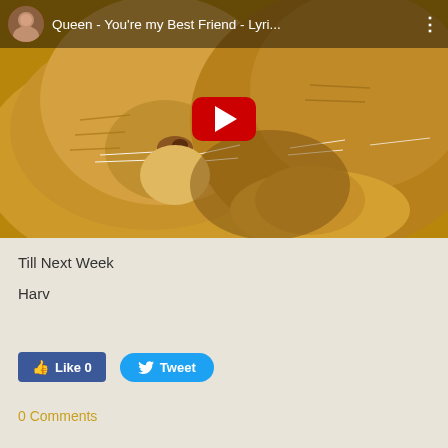[Figure (screenshot): YouTube video thumbnail showing two lions nuzzling close together, with a red YouTube play button in the center. The video bar at the top shows a small circular avatar of a woman, and the title text 'Queen - You’re my Best Friend - Lyri...' on a dark semi-transparent background, with a three-dot menu icon on the right.]
Till Next Week
Harv
[Figure (screenshot): Social media sharing buttons: a blue Facebook 'Like 0' button and a blue rounded Twitter 'Tweet' button]
0 Comments